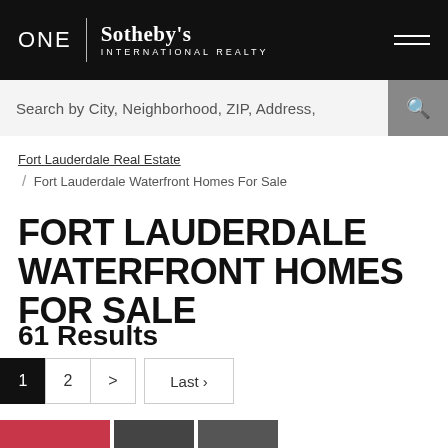[Figure (logo): ONE Sotheby's International Realty logo on black header bar with hamburger menu icon]
Search by City, Neighborhood, ZIP, Address,
Fort Lauderdale Real Estate
/ Fort Lauderdale Waterfront Homes For Sale
FORT LAUDERDALE WATERFRONT HOMES FOR SALE
61 Results
1  2  >  Last ›